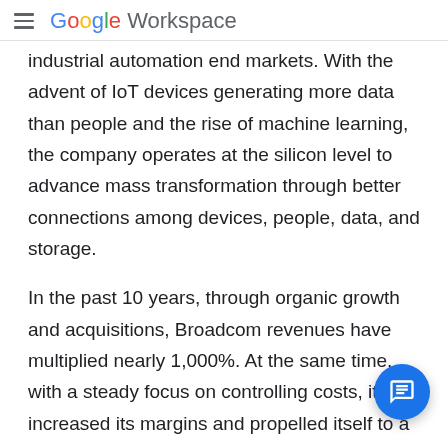Google Workspace
industrial automation end markets. With the advent of IoT devices generating more data than people and the rise of machine learning, the company operates at the silicon level to advance mass transformation through better connections among devices, people, data, and storage.
In the past 10 years, through organic growth and acquisitions, Broadcom revenues have multiplied nearly 1,000%. At the same time, with a steady focus on controlling costs, it has increased its margins and propelled itself to a top 5 ranking among global semiconductor firms in the 2018 Q1